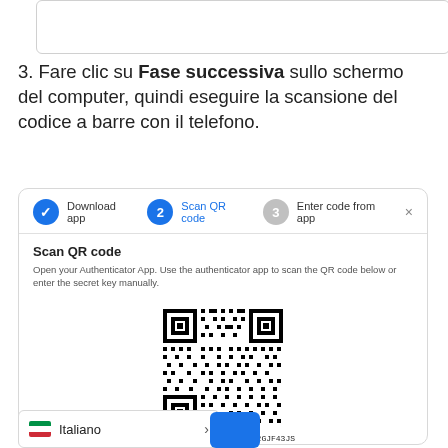[Figure (screenshot): Partial screenshot of a UI element at the top of the page (cropped)]
3. Fare clic su Fase successiva sullo schermo del computer, quindi eseguire la scansione del codice a barre con il telefono.
[Figure (screenshot): Screenshot of a QR code scanning step in an Authenticator app setup dialog. Shows steps: 1) Download app (checked), 2) Scan QR code (active), 3) Enter code from app. Contains a QR code image and text 'Secret Key: YOGlSDCGAMSU6BW3ULXFVV2GJF43JS']
Italiano >